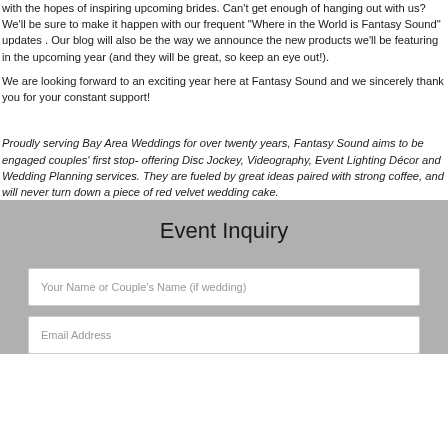with the hopes of inspiring upcoming brides. Can't get enough of hanging out with us? We'll be sure to make it happen with our frequent "Where in the World is Fantasy Sound" updates . Our blog will also be the way we announce the new products we'll be featuring in the upcoming year (and they will be great, so keep an eye out!).
We are looking forward to an exciting year here at Fantasy Sound and we sincerely thank you for your constant support!
Proudly serving Bay Area Weddings for over twenty years, Fantasy Sound aims to be engaged couples' first stop- offering Disc Jockey, Videography, Event Lighting Décor and Wedding Planning services. They are fueled by great ideas paired with strong coffee, and will never turn down a piece of red velvet wedding cake.
Event Inquiry
Your Name or Couple's Name (if wedding)
Email Address